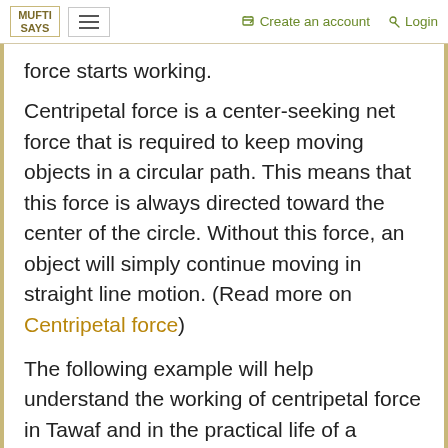MUFTI SAYS | Create an account | Login
force starts working.
Centripetal force is a center-seeking net force that is required to keep moving objects in a circular path. This means that this force is always directed toward the center of the circle. Without this force, an object will simply continue moving in straight line motion. (Read more on Centripetal force)
The following example will help understand the working of centripetal force in Tawaf and in the practical life of a Muslim:
"When we drive in a circle, for instance